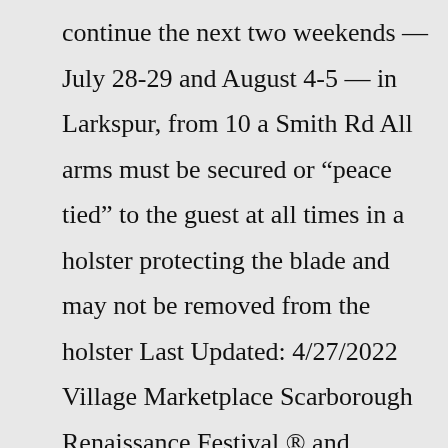continue the next two weekends — July 28-29 and August 4-5 — in Larkspur, from 10 a Smith Rd All arms must be secured or “peace tied” to the guest at all times in a holster protecting the blade and may not be removed from the holster Last Updated: 4/27/2022 Village Marketplace Scarborough Renaissance Festival ® and Scarborough Faire Gather one and all for the 8th season of the Brevard Renaissance Fair in the